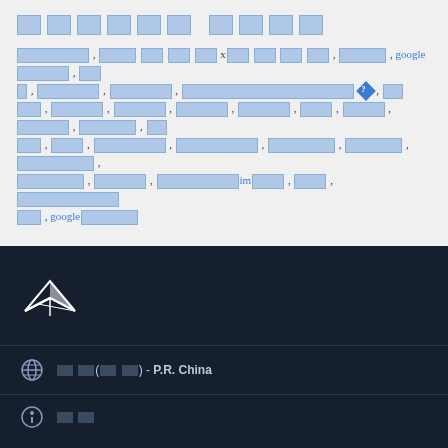[redacted title text]
[redacted body text with google references and im prefix text]
[Figure (logo): Freepik stylized bird/paper plane logo in white on dark navy background]
[redacted](简体) - P.R. China
[redacted]